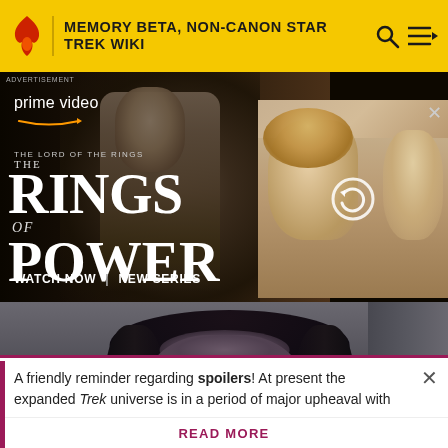MEMORY BETA, NON-CANON STAR TREK WIKI
[Figure (screenshot): Advertisement for Amazon Prime Video - The Lord of the Rings: The Rings of Power. Shows a robed dark figure on the left panel and a blonde woman with others on the right panel. Text reads: prime video, THE LORD OF THE RINGS THE RINGS OF POWER, WATCH NOW | NEW SERIES. Close button (×) visible top right.]
[Figure (photo): Screenshot from a Star Trek episode or film showing a close-up of a person's face with dark hair, looking slightly upward against a grey/blue background.]
A friendly reminder regarding spoilers! At present the expanded Trek universe is in a period of major upheaval with
READ MORE